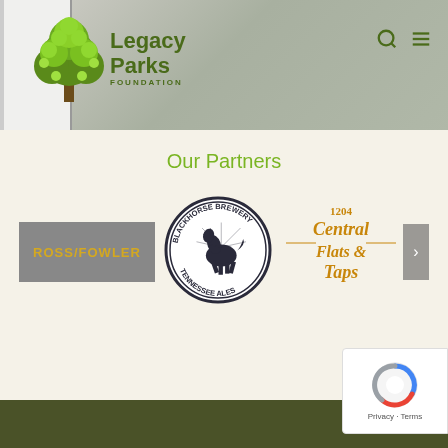[Figure (logo): Legacy Parks Foundation logo — tree icon with green leaves and 'Legacy Parks Foundation' text in dark green]
Our Partners
[Figure (logo): Ross/Fowler logo in gold/yellow text on gray background]
[Figure (logo): Blackhorse Brewery Tennessee Ales circular logo with rearing horse]
[Figure (logo): 1204 Central Flats & Taps logo in ornate gold typography]